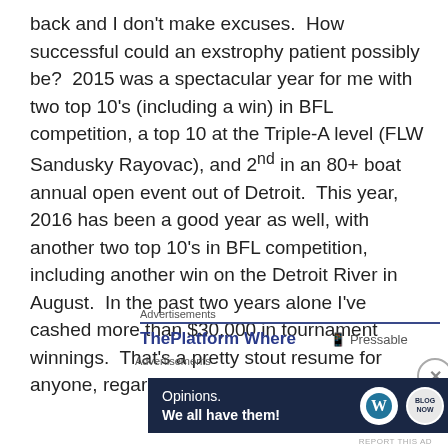back and I don't make excuses. How successful could an exstrophy patient possibly be? 2015 was a spectacular year for me with two top 10's (including a win) in BFL competition, a top 10 at the Triple-A level (FLW Sandusky Rayovac), and 2nd in an 80+ boat annual open event out of Detroit. This year, 2016 has been a good year as well, with another two top 10's in BFL competition, including another win on the Detroit River in August. In the past two years alone I've cashed more than $30,000 in tournament winnings. That's a pretty stout resume for anyone, regardless of their physical limitations.
Advertisements
ThePlatform Where
Advertisements
[Figure (other): Advertisement banner with dark navy background showing 'Opinions. We all have them!' text with WordPress and blog logos on the right side.]